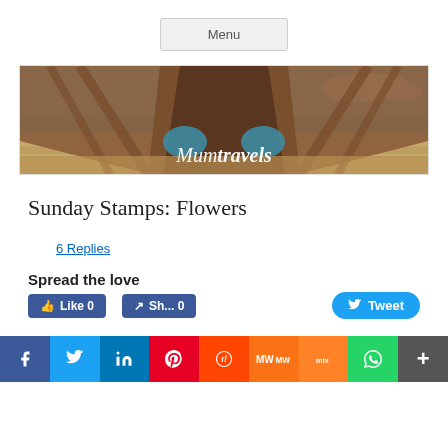Menu
[Figure (photo): Banner image showing underside of a wooden pier/jetty at a beach, blue sky with clouds, text overlay 'Mumtravels']
Sunday Stamps: Flowers
6 Replies
Spread the love
[Figure (screenshot): Social sharing buttons row: Tweet button, Like 0, Share 0, and bottom social bar with Facebook, Twitter, LinkedIn, Pinterest, Reddit, MeWe, Mix, WhatsApp, More icons]